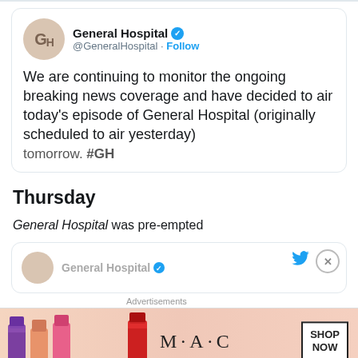[Figure (screenshot): Tweet from @GeneralHospital with verified badge and Follow button, showing profile avatar with GH initials]
We are continuing to monitor the ongoing breaking news coverage and have decided to air today’s episode of General Hospital (originally scheduled to air yesterday) tomorrow. #GH
Thursday
General Hospital was pre-empted
[Figure (screenshot): Partial tweet card from General Hospital with Twitter bird icon and close button]
Advertisements
[Figure (photo): MAC cosmetics advertisement showing lipsticks with SHOP NOW button]